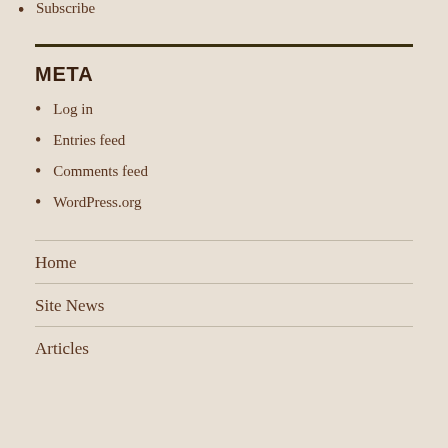Subscribe
META
Log in
Entries feed
Comments feed
WordPress.org
Home
Site News
Articles